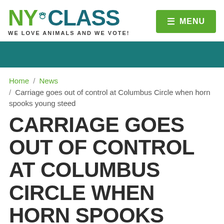NYCLASS — WE LOVE ANIMALS AND WE VOTE! | MENU
[Figure (other): Teal/dark green decorative banner bar]
Home / News / Carriage goes out of control at Columbus Circle when horn spooks young steed
CARRIAGE GOES OUT OF CONTROL AT COLUMBUS CIRCLE WHEN HORN SPOOKS YOUNG STEED
A...